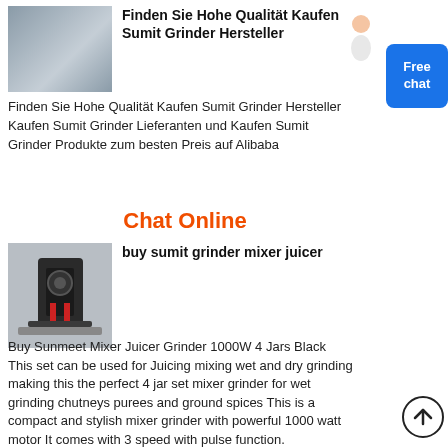[Figure (photo): Industrial grinder machinery in a factory setting]
Finden Sie Hohe Qualität Kaufen Sumit Grinder Hersteller
Finden Sie Hohe Qualität Kaufen Sumit Grinder Hersteller Kaufen Sumit Grinder Lieferanten und Kaufen Sumit Grinder Produkte zum besten Preis auf Alibaba
Chat Online
[Figure (photo): Black industrial mixer grinder machine]
buy sumit grinder mixer juicer
Buy Sunmeet Mixer Juicer Grinder 1000W 4 Jars Black This set can be used for Juicing mixing wet and dry grinding making this the perfect 4 jar set mixer grinder for wet grinding chutneys purees and ground spices This is a compact and stylish mixer grinder with powerful 1000 watt motor It comes with 3 speed with pulse function.